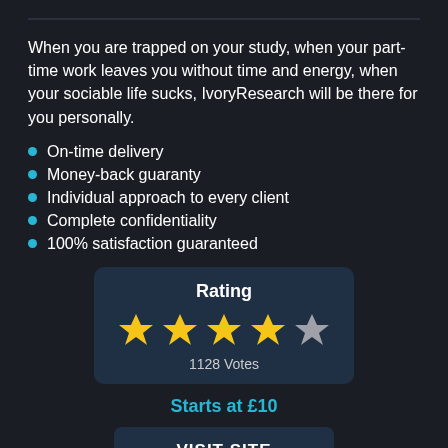When you are trapped on your study, when your part-time work leaves you without time and energy, when your sociable life sucks, IvoryResearch will be there for you personally.
On-time delivery
Money-back guaranty
Individual approach to every client
Complete confidentiality
100% satisfaction guaranteed
[Figure (other): Rating box with 4 out of 5 gold stars and 1128 Votes label]
Starts at £10
VISIT SITE